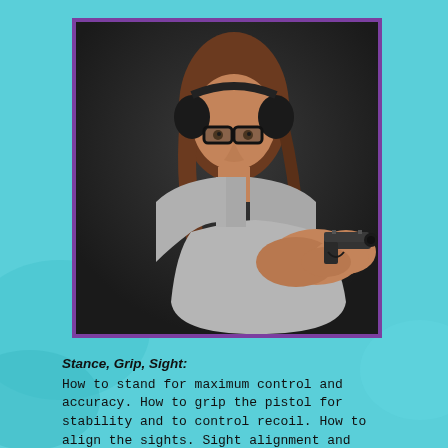[Figure (photo): A woman wearing ear protection headphones and safety glasses, aiming a handgun (pistol) with both hands extended toward the camera. She is wearing a sleeveless gray top. The background is dark gray/charcoal. The photo has a purple border.]
Stance, Grip, Sight: How to stand for maximum control and accuracy. How to grip the pistol for stability and to control recoil. How to align the sights. Sight alignment and sight picture.